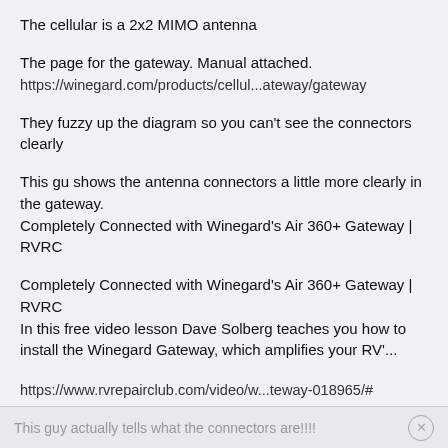The cellular is a 2x2 MIMO antenna
The page for the gateway. Manual attached.
https://winegard.com/products/cellul...ateway/gateway
They fuzzy up the diagram so you can't see the connectors clearly
This gu shows the antenna connectors a little more clearly in the gateway.
Completely Connected with Winegard's Air 360+ Gateway | RVRC
Completely Connected with Winegard's Air 360+ Gateway | RVRC
In this free video lesson Dave Solberg teaches you how to install the Winegard Gateway, which amplifies your RV'...
https://www.rvrepairclub.com/video/w...teway-018965/#
This guy actually tells what the connectors are!!!!